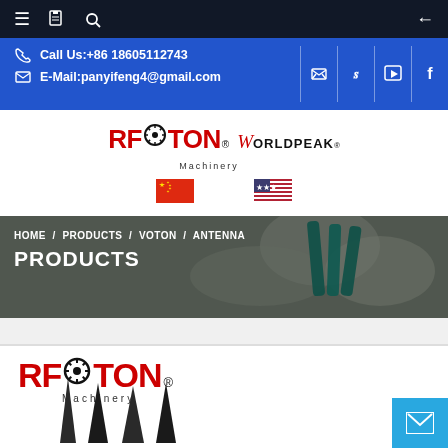Navigation bar with menu, bookmark, search icons and back arrow
Call Us:+86 18605112743
E-Mail:panyifeng4@gmail.com
[Figure (logo): RFVOTON Machinery logo with gear icon and WORLDPEAK brand name with Chinese and US flags]
[Figure (photo): Hero banner showing manufacturing/machinery scene with green tools on foam material. Breadcrumb: HOME / PRODUCTS / VOTON / ANTENNA. Title: PRODUCTS]
[Figure (logo): RFVOTON Machinery logo (large, red and black) with antenna product images below]